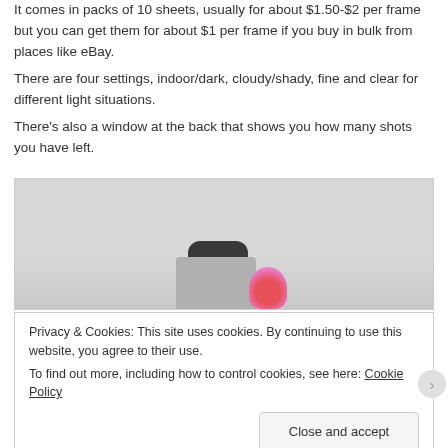It comes in packs of 10 sheets, usually for about $1.50-$2 per frame but you can get them for about $1 per frame if you buy in bulk from places like eBay.
There are four settings, indoor/dark, cloudy/shady, fine and clear for different light situations.
There's also a window at the back that shows you how many shots you have left.
[Figure (photo): A photograph showing the top portion of a camera body (grey/silver) with a dark rounded top element, and a pink flower prop partially visible to the right, against a light grey background.]
Privacy & Cookies: This site uses cookies. By continuing to use this website, you agree to their use.
To find out more, including how to control cookies, see here: Cookie Policy
Close and accept